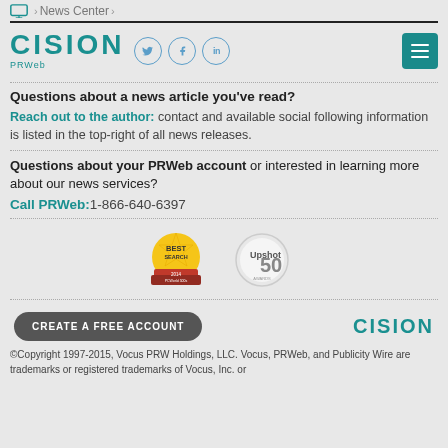News Center
[Figure (logo): CISION PRWeb logo with Twitter, Facebook, LinkedIn social icons and hamburger menu button]
Questions about a news article you've read?
Reach out to the author: contact and available social following information is listed in the top-right of all news releases.
Questions about your PRWeb account or interested in learning more about our news services?
Call PRWeb:1-866-640-6397
[Figure (illustration): Best Search 2014 PCWorld 500s badge and Upshot 50 badge]
CREATE A FREE ACCOUNT
[Figure (logo): CISION logo in teal]
©Copyright 1997-2015, Vocus PRW Holdings, LLC. Vocus, PRWeb, and Publicity Wire are trademarks or registered trademarks of Vocus, Inc. or